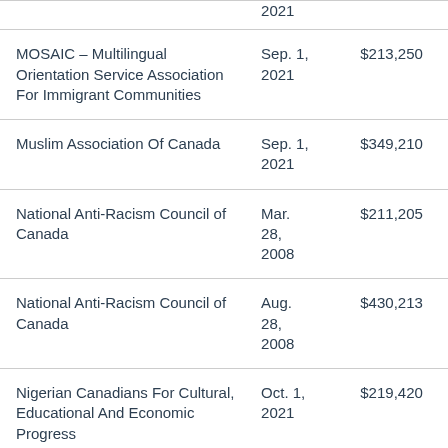| Organization | Date | Amount |
| --- | --- | --- |
| [partial row - date only] | 2021 |  |
| MOSAIC – Multilingual Orientation Service Association For Immigrant Communities | Sep. 1, 2021 | $213,250 |
| Muslim Association Of Canada | Sep. 1, 2021 | $349,210 |
| National Anti-Racism Council of Canada | Mar. 28, 2008 | $211,205 |
| National Anti-Racism Council of Canada | Aug. 28, 2008 | $430,213 |
| Nigerian Canadians For Cultural, Educational And Economic Progress | Oct. 1, 2021 | $219,420 |
| Nishnawbe-Aski Legal Services Corp. | Apr. 1, 2020 | $376,788 |